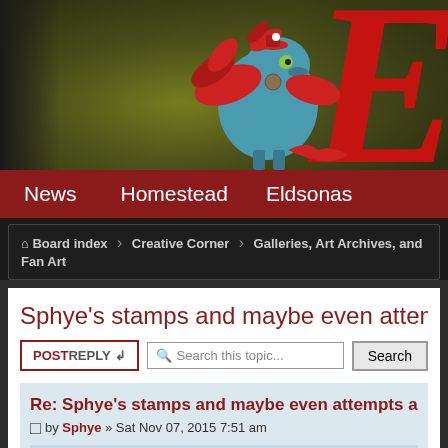[Figure (illustration): Forum website header banner showing a fantasy blue creature/gryphon with red feathers and steampunk accessories on an olive-green background, with a large red decorative letter E on the right side]
News  Homestead  Eldsonas
Board index › Creative Corner › Galleries, Art Archives, and Fan Art
Sphye's stamps and maybe even attempts at other
POSTREPLY   Search this topic...   Search
Re: Sphye's stamps and maybe even attempts a
by Sphye » Sat Nov 07, 2015 7:51 am
Mira wrote:
So sorry for bothering you again >.>